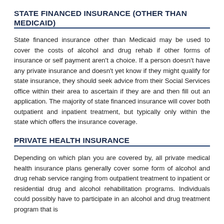STATE FINANCED INSURANCE (OTHER THAN MEDICAID)
State financed insurance other than Medicaid may be used to cover the costs of alcohol and drug rehab if other forms of insurance or self payment aren't a choice. If a person doesn't have any private insurance and doesn't yet know if they might qualify for state insurance, they should seek advice from their Social Services office within their area to ascertain if they are and then fill out an application. The majority of state financed insurance will cover both outpatient and inpatient treatment, but typically only within the state which offers the insurance coverage.
PRIVATE HEALTH INSURANCE
Depending on which plan you are covered by, all private medical health insurance plans generally cover some form of alcohol and drug rehab service ranging from outpatient treatment to inpatient or residential drug and alcohol rehabilitation programs. Individuals could possibly have to participate in an alcohol and drug treatment program that is